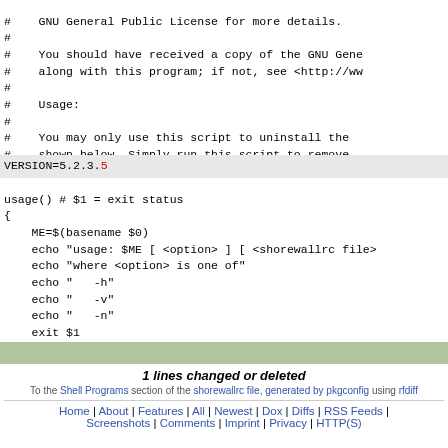# GNU General Public License for more details.
#
# You should have received a copy of the GNU Gene
# along with this program; if not, see <http://ww
#
# Usage:
#
# You may only use this script to uninstall the
# shown below. Simply run this script to remove
VERSION=5.2.3.5
usage() # $1 = exit status
{
    ME=$(basename $0)
    echo "usage: $ME [ <option> ] [ <shorewallrc file>
    echo "where <option> is one of"
    echo "   -h"
    echo "   -v"
    echo "   -n"
    exit $1
1 lines changed or deleted
To the Shell Programs section of the shorewallrc file, generated by pkgconfig using rfdiff
Home | About | Features | All | Newest | Dox | Diffs | RSS Feeds | Screenshots | Comments | Imprint | Privacy | HTTP(S)